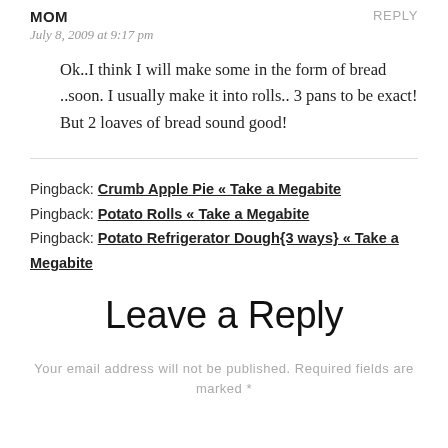MOM
REPLY
July 8, 2009 at 9:17 pm
Ok..I think I will make some in the form of bread ..soon. I usually make it into rolls.. 3 pans to be exact! But 2 loaves of bread sound good!
Pingback: Crumb Apple Pie « Take a Megabite
Pingback: Potato Rolls « Take a Megabite
Pingback: Potato Refrigerator Dough{3 ways} « Take a Megabite
Leave a Reply
Your email address will not be published. Required fields are marked *